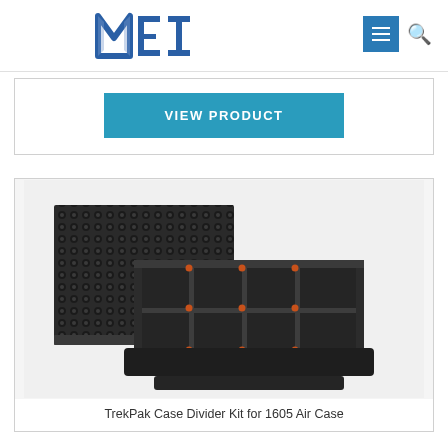[Figure (logo): MEI company logo in bold blue/gray stylized block letters]
VIEW PRODUCT
[Figure (photo): TrekPak Case Divider Kit for 1605 Air Case — foam divider system with egg-crate top foam panel, customizable divider tray with orange clip connectors, and flat base foam piece, all in dark charcoal gray]
TrekPak Case Divider Kit for 1605 Air Case